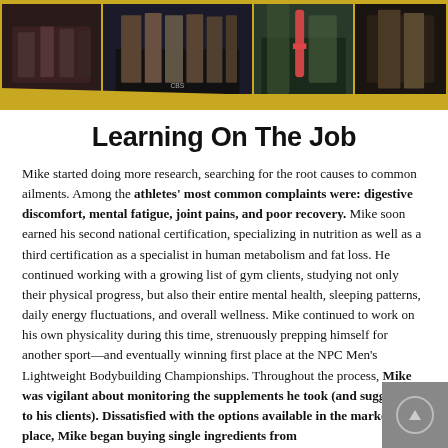[Figure (photo): A collage of bodybuilding competition photos showing athletes on stage and outdoors, set against a yellow background with a decorative yellow stripe at the bottom.]
Learning On The Job
Mike started doing more research, searching for the root causes to common ailments. Among the athletes' most common complaints were: digestive discomfort, mental fatigue, joint pains, and poor recovery. Mike soon earned his second national certification, specializing in nutrition as well as a third certification as a specialist in human metabolism and fat loss. He continued working with a growing list of gym clients, studying not only their physical progress, but also their entire mental health, sleeping patterns, daily energy fluctuations, and overall wellness. Mike continued to work on his own physicality during this time, strenuously prepping himself for another sport—and eventually winning first place at the NPC Men's Lightweight Bodybuilding Championships. Throughout the process, Mike was vigilant about monitoring the supplements he took (and suggested to his clients). Dissatisfied with the options available in the market-place, Mike began buying single ingredients from